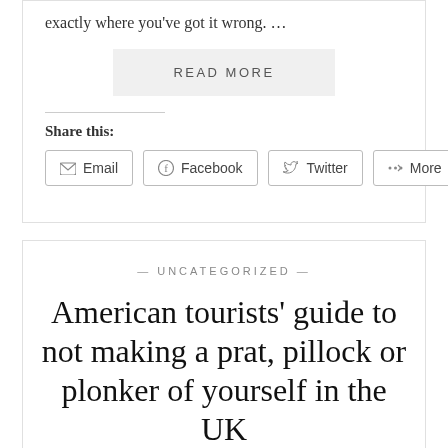exactly where you've got it wrong. …
READ MORE
Share this:
Email
Facebook
Twitter
More
— UNCATEGORIZED —
American tourists' guide to not making a prat, pillock or plonker of yourself in the UK
AUGUST 14, 2016